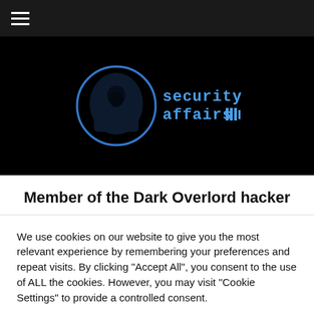≡
[Figure (logo): Security Affairs logo: hooded figure in a blue circle on black background with 'security affairs' text in blue monospace font]
Member of the Dark Overlord hacker
We use cookies on our website to give you the most relevant experience by remembering your preferences and repeat visits. By clicking "Accept All", you consent to the use of ALL the cookies. However, you may visit "Cookie Settings" to provide a controlled consent.
Cookie Settings | Accept All